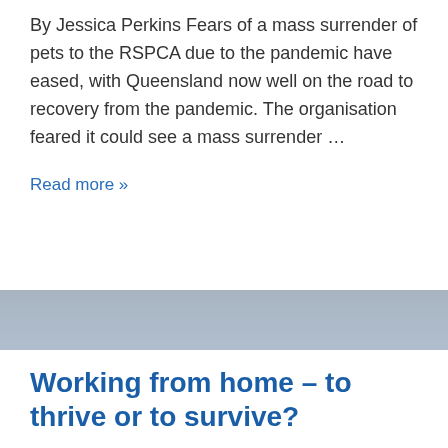By Jessica Perkins Fears of a mass surrender of pets to the RSPCA due to the pandemic have eased, with Queensland now well on the road to recovery from the pandemic. The organisation feared it could see a mass surrender …
Read more »
Working from home – to thrive or to survive?
BY - POSTED ON OCTOBER 12, 2020 - POSTED IN BUSINESS, EMPLOYMENT, FEATURES, HEALTH, HUMAN INTEREST, NATIONAL, NEWS, QUT NEWS - TAGGED WITH